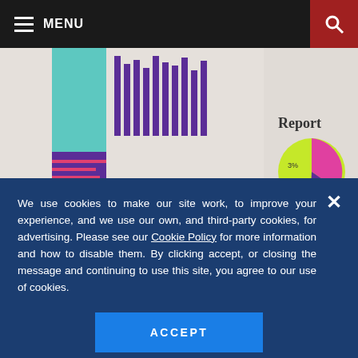MENU
[Figure (screenshot): Screenshot of a report page showing bar charts and pie charts with purple, teal, pink, and green colors, including text 'Report']
GOODTIME
The Hiring Outlook for TA? New
We use cookies to make our site work, to improve your experience, and we use our own, and third-party cookies, for advertising. Please see our Cookie Policy for more information and how to disable them. By clicking accept, or closing the message and continuing to use this site, you agree to our use of cookies.
ACCEPT